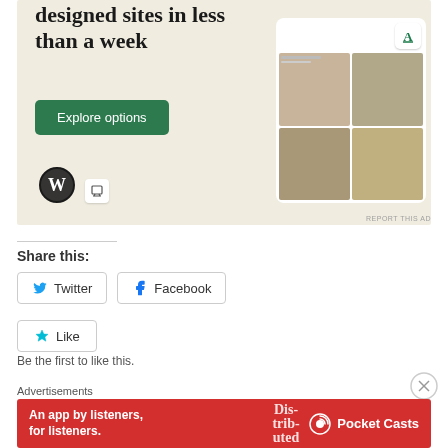[Figure (screenshot): WordPress advertisement showing 'professionally designed sites in less than a week' with an Explore options button and phone mockup showing food website]
REPORT THIS AD
Share this:
Twitter
Facebook
Like
Be the first to like this.
Advertisements
[Figure (screenshot): Pocket Casts advertisement: An app by listeners, for listeners.]